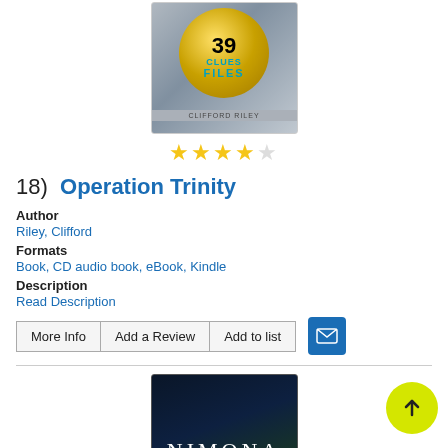[Figure (illustration): Book cover for '39 Clues Files' by Clifford Riley, showing a gold circular emblem with '39 CLUES FILES' text on a metallic background]
[Figure (other): Star rating: 4 out of 5 stars]
18)  Operation Trinity
Author
Riley, Clifford
Formats
Book, CD audio book, eBook, Kindle
Description
Read Description
More Info
Add a Review
Add to list
[Figure (illustration): Book cover for 'Nimona' showing dark background with the title NIMONA in white letters]